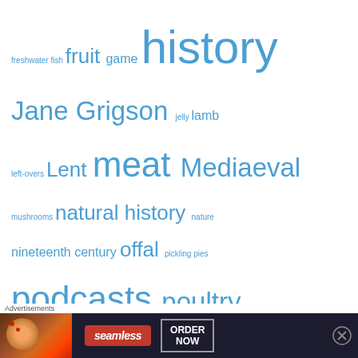[Figure (infographic): Tag cloud with food and cooking related tags in varying font sizes, all in blue color. Tags include: freshwater fish, fruit, game, history, Jane Grigson, jelly, lamb, left-overs, Lent, meat, Mediaeval, mushrooms, natural history, nature, nineteenth century, offal, pickling, pies, podcasts, poultry, preserves, preserving, pudding, recipe, regional cookery, roasting meat, sauce, savouries, Scotland, seventeenth century, soup, stews and casseroles, stock, suet pudding, tarts, Teatime, treacle, veal, vegetables, vegetarian, Victorian Era, Yorkshire]
Archives
[Figure (screenshot): Seamless advertisement banner with pizza image, seamless logo in red, and ORDER NOW button]